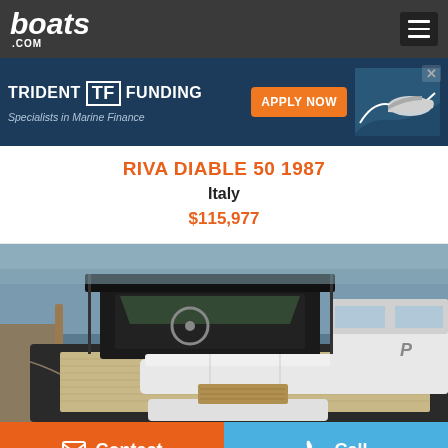boats.com
[Figure (screenshot): Trident Funding advertisement banner — Specialists in Marine Finance, with APPLY NOW button and boat image]
RIVA DIABLE 50 1987
Italy
$115,977
[Figure (photo): Photo of a Riva Diable 50 1987 boat deck with white cushioned seating, teak table, and marina background]
Contact
Call